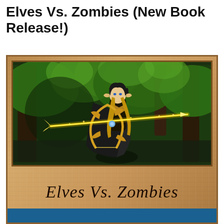Elves Vs. Zombies (New Book Release!)
[Figure (illustration): Book cover image for 'Elves Vs. Zombies'. The cover has a parchment/leather brown textured background. In the upper portion is a rectangular framed illustration of a fantasy elf archer dressed in dark robes and a hood, wielding a glowing golden bow that shoots bright yellow magical arrows, set in a lush green forest. Below the illustration, the book title 'Elves Vs. Zombies' is written in a dark italic serif font. A teal/blue bar appears at the very bottom of the cover.]